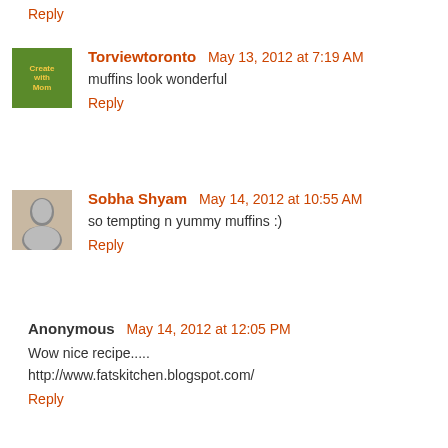Reply
Torviewtoronto  May 13, 2012 at 7:19 AM
muffins look wonderful
Reply
Sobha Shyam  May 14, 2012 at 10:55 AM
so tempting n yummy muffins :)
Reply
Anonymous  May 14, 2012 at 12:05 PM
Wow nice recipe.....
http://www.fatskitchen.blogspot.com/
Reply